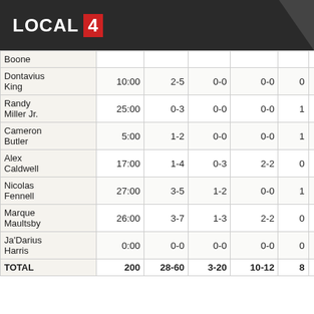LOCAL 4
| Player | MIN | FG | 3P | FT | OREB | DREB | REB | AST | STL | BLK | PTS |
| --- | --- | --- | --- | --- | --- | --- | --- | --- | --- | --- | --- |
| Boone |  |  |  |  |  |  |  |  |  |  |  |
| Dontavius King | 10:00 | 2-5 | 0-0 | 0-0 | 0 | 0 | 0 | 0 | 3 | 1 | 1 |
| Randy Miller Jr. | 25:00 | 0-3 | 0-0 | 0-0 | 1 | 1 | 2 | 1 | 0 | 0 | 1 |
| Cameron Butler | 5:00 | 1-2 | 0-0 | 0-0 | 1 | 1 | 2 | 0 | 4 | 0 | 3 |
| Alex Caldwell | 17:00 | 1-4 | 0-3 | 2-2 | 0 | 1 | 1 | 0 | 2 | 1 | 0 |
| Nicolas Fennell | 27:00 | 3-5 | 1-2 | 0-0 | 1 | 2 | 3 | 2 | 3 | 0 | 1 |
| Marque Maultsby | 26:00 | 3-7 | 1-3 | 2-2 | 0 | 0 | 0 | 3 | 1 | 1 | 2 |
| Ja'Darius Harris | 0:00 | 0-0 | 0-0 | 0-0 | 0 | 0 | 0 | 0 | 0 | 0 | 0 |
| TOTAL | 200 | 28-60 | 3-20 | 10-12 | 8 | 16 | 24 | 8 | 19 | 4 | 12 |